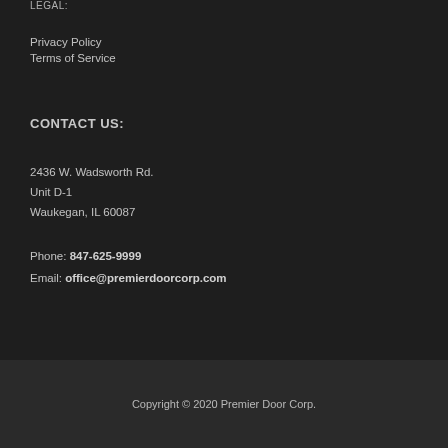LEGAL:
Privacy Policy
Terms of Service
CONTACT US:
2436 W. Wadsworth Rd.
Unit D-1
Waukegan, IL 60087
Phone: 847-625-9999
Email: office@premierdoorcorp.com
Copyright © 2020 Premier Door Corp.